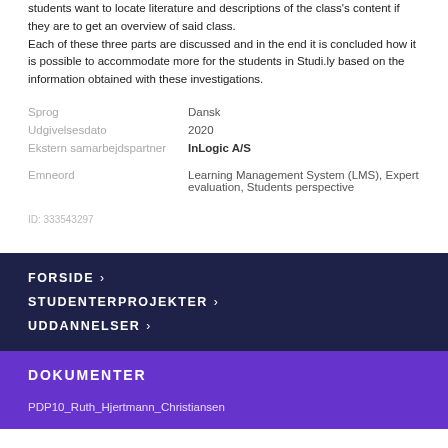students want to locate literature and descriptions of the class's content if they are to get an overview of said class.
Each of these three parts are discussed and in the end it is concluded how it is possible to accommodate more for the students in Studi.ly based on the information obtained with these investigations.
| Sprog | Dansk |
| Udgivelsesdato | 2020 |
| Ekstern samarbejdspartner | InLogic A/S |
| Emneord | Learning Management System (LMS), Expert evaluation, Students perspective |
ID: 333543297
FORSIDE ›
STUDENTERPROJEKTER ›
UDDANNELSER ›
DOKUMENTER
PDP10_Ruth_Hjertmann_Christiansen